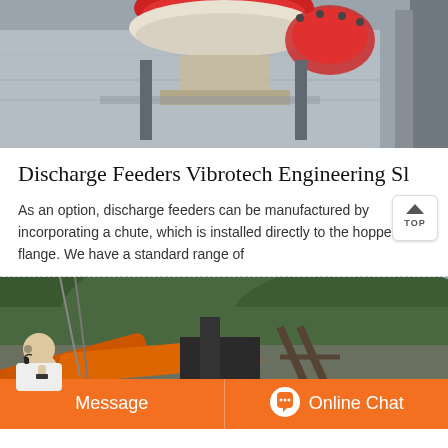[Figure (photo): Close-up photo of industrial machinery (discharge feeder) mounted above a concrete wall. The machinery has red and white colored components visible at the top.]
Discharge Feeders Vibrotech Engineering Sl
As an option, discharge feeders can be manufactured by incorporating a chute, which is installed directly to the hopper flange. We have a standard range of
[Figure (photo): Outdoor photo of industrial equipment (discharge feeder/conveyor) installed on a hillside mining or quarrying site, with green forested mountains in the background.]